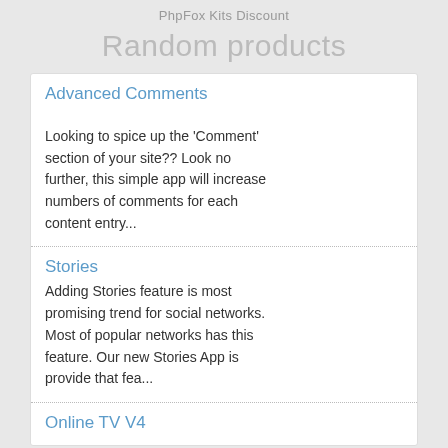PhpFox Kits Discount
Random products
Advanced Comments
Looking to spice up the ‘Comment’ section of your site?? Look no further, this simple app will increase numbers of comments for each content entry...
Stories
Adding Stories feature is most promising trend for social networks. Most of popular networks has this feature. Our new Stories App is provide that fea...
Online TV V4